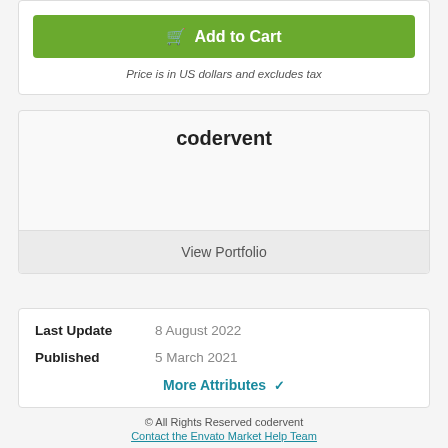Add to Cart
Price is in US dollars and excludes tax
codervent
View Portfolio
Last Update    8 August 2022
Published    5 March 2021
More Attributes
© All Rights Reserved codervent
Contact the Envato Market Help Team